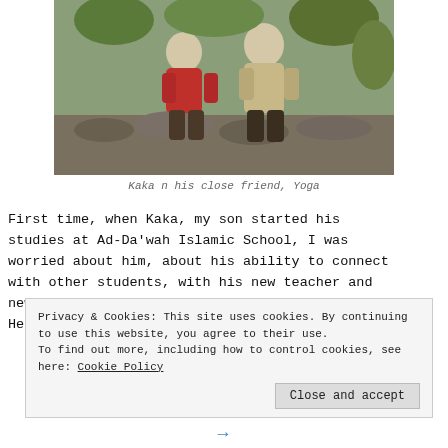[Figure (photo): Two children sitting on a stone ledge in front of green plants. One wears a red jacket, the other a beige jacket.]
Kaka n his close friend, Yoga
First time, when Kaka, my son started his studies at Ad-Da'wah Islamic School, I was worried about him, about his ability to connect with other students, with his new teacher and new things at his class.
He had never followed kindergarten and
Privacy & Cookies: This site uses cookies. By continuing to use this website, you agree to their use.
To find out more, including how to control cookies, see here: Cookie Policy
Close and accept